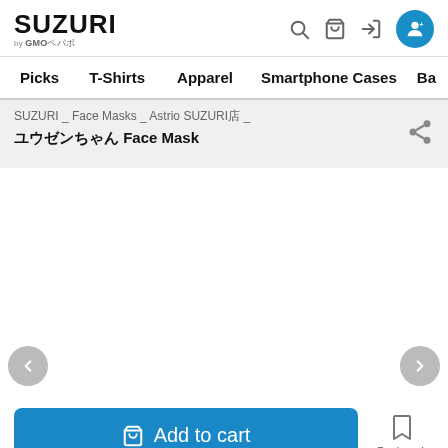SUZURI by GMOペパボ
Picks  T-Shirts  Apparel  Smartphone Cases  Ba
SUZURI _ Face Masks _ Astrio SUZURI店 _
ユウゼンちゃん Face Mask
[Figure (other): Product image area (white/blank) for ユウゼンちゃん Face Mask with left and right navigation arrows]
Add to cart
Bookmark